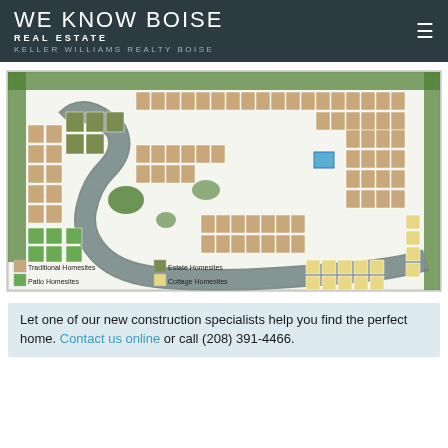WE KNOW BOISE REAL ESTATE — KELLER WILLIAMS REALTY BOISE
[Figure (map): Subdivision plat map showing Traditional Homesites, Estate Homesites, Patio Homesites, and Cottage Homesites with color-coded legend]
Let one of our new construction specialists help you find the perfect home. Contact us online or call (208) 391-4466.